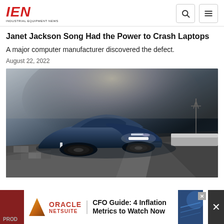IEN INDUSTRIAL EQUIPMENT NEWS
Janet Jackson Song Had the Power to Crash Laptops
A major computer manufacturer discovered the defect.
August 22, 2022
[Figure (photo): A sleek dark blue electric car (Lucid Air) driving on a race track at night, with headlights on, dramatic lighting with hazy background, checkered pattern on the track surface]
[Figure (other): Advertisement banner: Oracle NetSuite - CFO Guide: 4 Inflation Metrics to Watch Now]